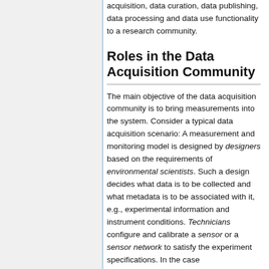acquisition, data curation, data publishing, data processing and data use functionality to a research community.
Roles in the Data Acquisition Community
The main objective of the data acquisition community is to bring measurements into the system. Consider a typical data acquisition scenario: A measurement and monitoring model is designed by designers based on the requirements of environmental scientists. Such a design decides what data is to be collected and what metadata is to be associated with it, e.g., experimental information and instrument conditions. Technicians configure and calibrate a sensor or a sensor network to satisfy the experiment specifications. In the case